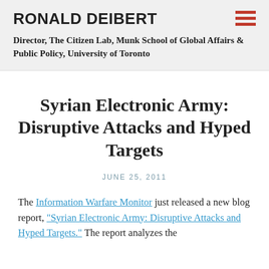RONALD DEIBERT
Director, The Citizen Lab, Munk School of Global Affairs & Public Policy, University of Toronto
Syrian Electronic Army: Disruptive Attacks and Hyped Targets
JUNE 25, 2011
The Information Warfare Monitor just released a new blog report, "Syrian Electronic Army: Disruptive Attacks and Hyped Targets." The report analyzes the